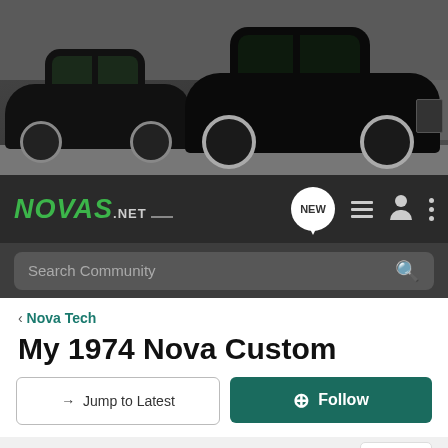[Figure (photo): Banner photo showing two black classic Chevy Nova muscle cars in a dark garage/industrial setting. Left car is a matte black lowered Nova, right car is a gloss black Nova with chrome wheels.]
NOVAS.NET navigation bar with logo, NEW button, list icon, user icon, and menu icon
Search Community
< Nova Tech
My 1974 Nova Custom
→ Jump to Latest
+ Follow
21 - 32 of 32 Posts
2 of 2
Nick_R_23 · Registered 🇺🇸